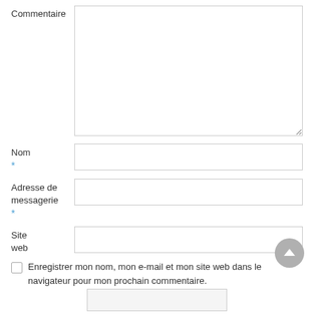Commentaire
Nom *
Adresse de messagerie *
Site web
Enregistrer mon nom, mon e-mail et mon site web dans le navigateur pour mon prochain commentaire.